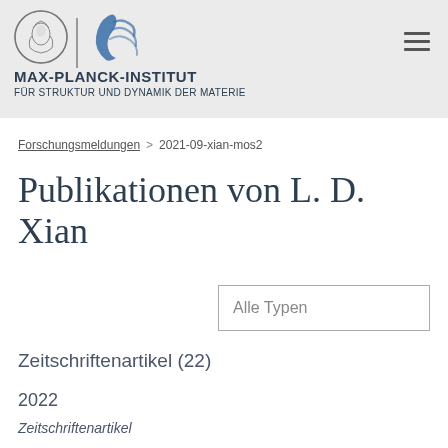[Figure (logo): Max-Planck-Institut für Struktur und Dynamik der Materie logo with Minerva circle emblem, vertical divider, blue wave logo, and institute name text]
Forschungsmeldungen > 2021-09-xian-mos2
Publikationen von L. D. Xian
Alle Typen
Zeitschriftenartikel (22)
2022
Zeitschriftenartikel